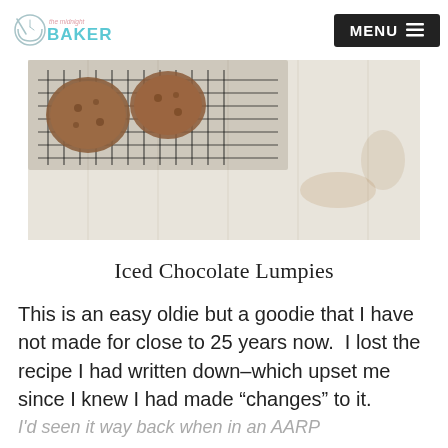The Midnight Baker | MENU
[Figure (photo): Cookies on a cooling rack over a light wood plank surface]
Iced Chocolate Lumpies
This is an easy oldie but a goodie that I have not made for close to 25 years now.  I lost the recipe I had written down–which upset me since I knew I had made “changes” to it.
I’d seen it way back when in an AARP